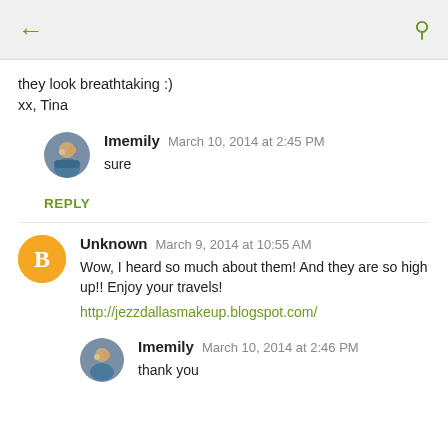[Figure (screenshot): Mobile app top bar with back arrow and search icon]
they look breathtaking :)
xx, Tina
Imemily  March 10, 2014 at 2:45 PM
sure
REPLY
Unknown  March 9, 2014 at 10:55 AM
Wow, I heard so much about them! And they are so high up!! Enjoy your travels!
http://jezzdallasmakeup.blogspot.com/
Imemily  March 10, 2014 at 2:46 PM
thank you